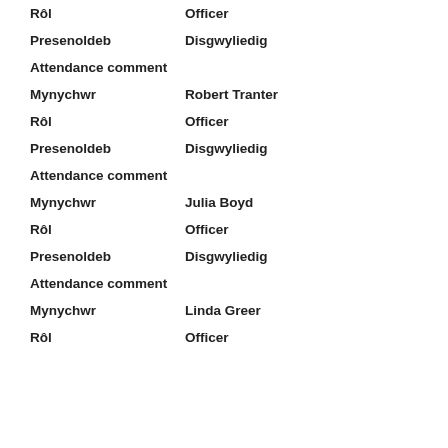Rôl: Officer
Presenoldeb: Disgwyliedig
Attendance comment
Mynychwr: Robert Tranter
Rôl: Officer
Presenoldeb: Disgwyliedig
Attendance comment
Mynychwr: Julia Boyd
Rôl: Officer
Presenoldeb: Disgwyliedig
Attendance comment
Mynychwr: Linda Greer
Rôl: Officer